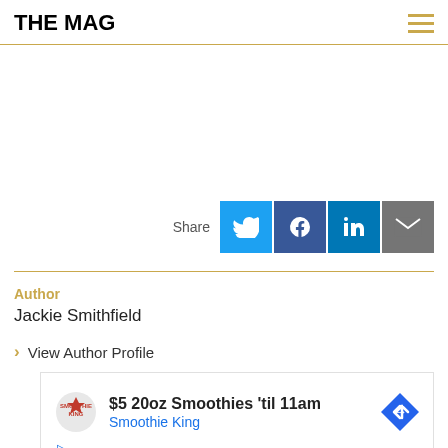THE MAG
[Figure (infographic): Share buttons row: Twitter (light blue), Facebook (dark blue), LinkedIn (blue), Email (gray), with 'Share' label to the left]
Author
Jackie Smithfield
View Author Profile
[Figure (other): Advertisement: Smoothie King - $5 20oz Smoothies 'til 11am]